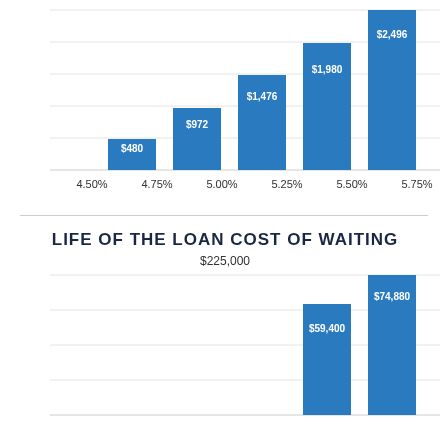[Figure (bar-chart): Monthly Cost of Waiting (implied)]
LIFE OF THE LOAN COST OF WAITING
$225,000
[Figure (bar-chart): Life of the Loan Cost of Waiting $225,000]